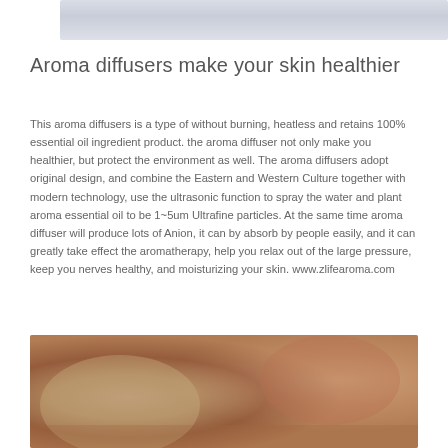[Figure (photo): Top portion of a photo showing light-colored fabric or textile with soft folds, in muted blue-grey tones]
Aroma diffusers make your skin healthier
This aroma diffusers is a type of without burning, heatless and retains 100% essential oil ingredient product. the aroma diffuser not only make you healthier, but protect the environment as well. The aroma diffusers adopt original design, and combine the Eastern and Western Culture together with modern technology, use the ultrasonic function to spray the water and plant aroma essential oil to be 1~5um Ultrafine particles. At the same time aroma diffuser will produce lots of Anion, it can by absorb by people easily, and it can greatly take effect the aromatherapy, help you relax out of the large pressure, keep you nerves healthy, and moisturizing your skin. www.zlifearoma.com
[Figure (photo): Bottom photo showing a person receiving a massage or spa treatment, warm skin tones with hands on back/shoulders]